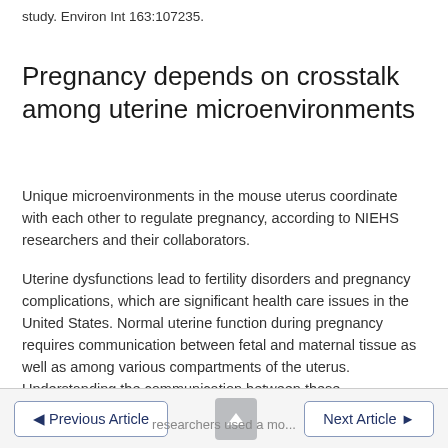study. Environ Int 163:107235.
Pregnancy depends on crosstalk among uterine microenvironments
Unique microenvironments in the mouse uterus coordinate with each other to regulate pregnancy, according to NIEHS researchers and their collaborators.
Uterine dysfunctions lead to fertility disorders and pregnancy complications, which are significant health care issues in the United States. Normal uterine function during pregnancy requires communication between fetal and maternal tissue as well as among various compartments of the uterus. Understanding the communication between these compartments and the microenvironments established during pregnancy is crucial to determine mechanisms that lead to pregnancy complications.
◄ Previous Article   ↑   researchers used a mo...   Next Article ►